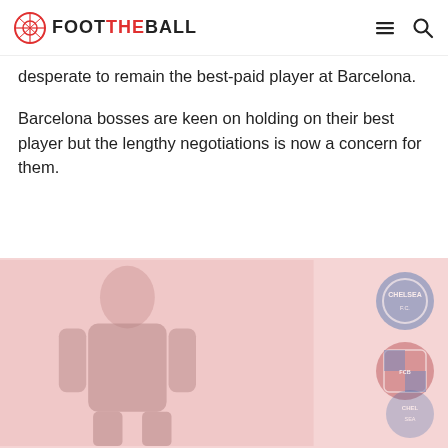FOOT THE BALL
desperate to remain the best-paid player at Barcelona.
Barcelona bosses are keen on holding on their best player but the lengthy negotiations is now a concern for them.
[Figure (photo): Photo of a footballer in blue jersey with Chelsea and FC Barcelona badges overlaid on the right side, on a light pink/red washed background]